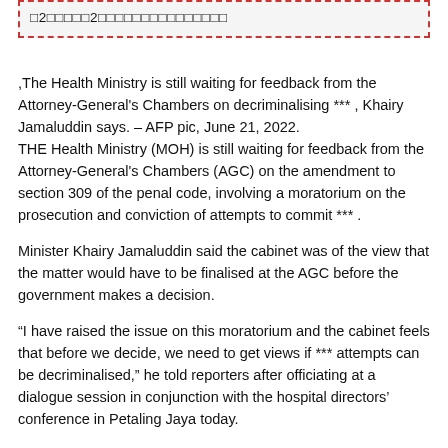□2□□□□□2□□□□□□□□□□□□□□□
,The Health Ministry is still waiting for feedback from the Attorney-General's Chambers on decriminalising *** , Khairy Jamaluddin says. – AFP pic, June 21, 2022.
THE Health Ministry (MOH) is still waiting for feedback from the Attorney-General's Chambers (AGC) on the amendment to section 309 of the penal code, involving a moratorium on the prosecution and conviction of attempts to commit *** .
Minister Khairy Jamaluddin said the cabinet was of the view that the matter would have to be finalised at the AGC before the government makes a decision.
“I have raised the issue on this moratorium and the cabinet feels that before we decide, we need to get views if *** attempts can be decriminalised,” he told reporters after officiating at a dialogue session in conjunction with the hospital directors’ conference in Petaling Jaya today.
Earlier, MOH had submitted to the cabinet a memorandum for a moratorium on the prosecution and conviction involving attempted